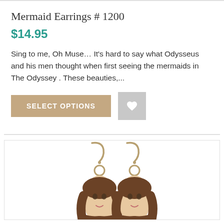Mermaid Earrings # 1200
$14.95
Sing to me, Oh Muse… It's hard to say what Odysseus and his men thought when first seeing the mermaids in The Odyssey . These beauties,...
[Figure (photo): Photo of two mermaid dangle earrings with gold hook wires and round connectors, featuring a mermaid face pendant with dark hair, shown as a pair on white background]